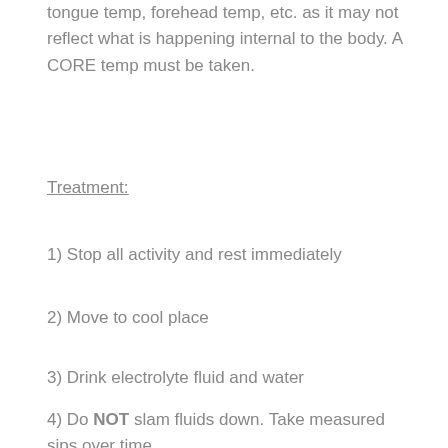tongue temp, forehead temp, etc. as it may not reflect what is happening internal to the body. A CORE temp must be taken.
Treatment:
1) Stop all activity and rest immediately
2) Move to cool place
3) Drink electrolyte fluid and water
4) Do NOT slam fluids down. Take measured sips over time.